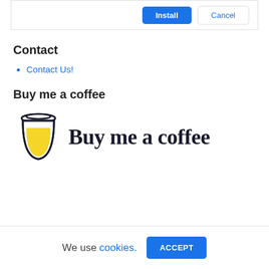[Figure (screenshot): Dialog box top with Install (blue button) and Cancel (outlined button)]
Contact
Contact Us!
Buy me a coffee
[Figure (logo): Buy me a coffee logo with coffee cup icon and handwritten text]
We use cookies. ACCEPT